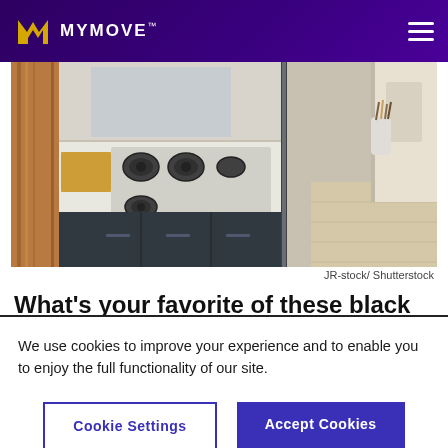MYMOVE
[Figure (photo): Modern black kitchen island with gas cooktop, glossy dark cabinets, marble countertop, and wooden accents]
JR-stock/ Shutterstock
What's your favorite of these black kitchen ideas?
We use cookies to improve your experience and to enable you to enjoy the full functionality of our site.
Cookie Settings  Accept Cookies